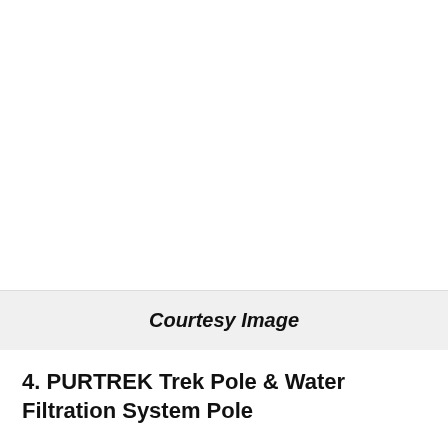[Figure (photo): Courtesy image placeholder — white/blank image area at top of page]
Courtesy Image
4. PURTREK Trek Pole & Water Filtration System Pole